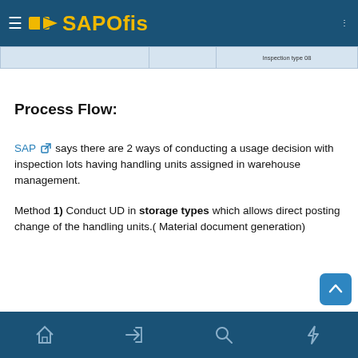SAPOfis
|  |  | Inspection type 08 |
| --- | --- | --- |
|   |   | Inspection type 08 |
Process Flow:
SAP [external link] says there are 2 ways of conducting a usage decision with inspection lots having handling units assigned in warehouse management.
Method 1) Conduct UD in storage types which allows direct posting change of the handling units.( Material document generation)
[navigation bar with home, login, search, lightning icons]